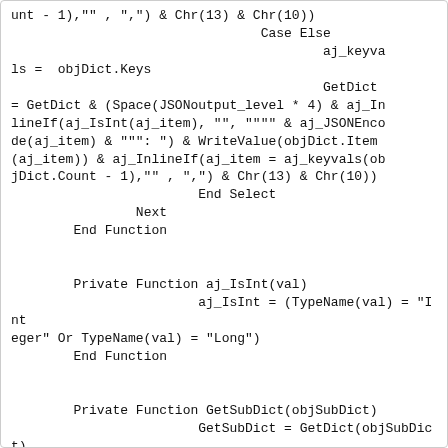unt - 1),"" , ",") & Chr(13) & Chr(10))
                                Case Else
                                        aj_keyva
ls =  objDict.Keys
                                        GetDict
= GetDict & (Space(JSONoutput_level * 4) & aj_In
lineIf(aj_IsInt(aj_item), "", """" & aj_JSONEnco
de(aj_item) & """: ") & WriteValue(objDict.Item
(aj_item)) & aj_InlineIf(aj_item = aj_keyvals(ob
jDict.Count - 1),"" , ",") & Chr(13) & Chr(10))
                        End Select
                Next
        End Function


        Private Function aj_IsInt(val)
                        aj_IsInt = (TypeName(val) = "Int
eger" Or TypeName(val) = "Long")
        End Function


        Private Function GetSubDict(objSubDict)
                        GetSubDict = GetDict(objSubDict)
                        JSONoutput_level= JSONoutput_lev
el -1
        End Function